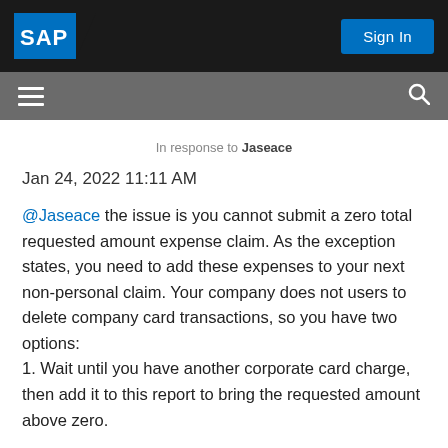SAP | Sign In
In response to Jaseace
Jan 24, 2022 11:11 AM
@Jaseace the issue is you cannot submit a zero total requested amount expense claim. As the exception states, you need to add these expenses to your next non-personal claim. Your company does not users to delete company card transactions, so you have two options: 1. Wait until you have another corporate card charge, then add it to this report to bring the requested amount above zero.